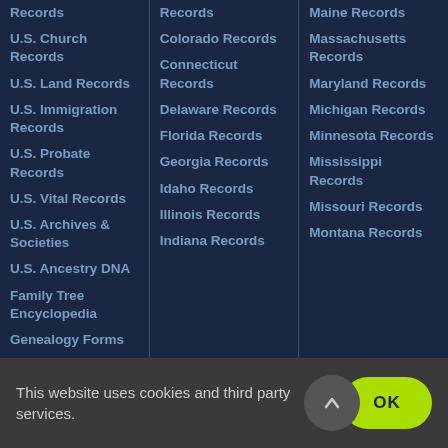Records
U.S. Church Records
U.S. Land Records
U.S. Immigration Records
U.S. Probate Records
U.S. Vital Records
U.S. Archives & Societies
U.S. Ancestry DNA
Family Tree Encyclopedia
Genealogy Forms
Records
Colorado Records
Connecticut Records
Delaware Records
Florida Records
Georgia Records
Idaho Records
Illinois Records
Indiana Records
Maine Records
Massachusetts Records
Maryland Records
Michigan Records
Minnesota Records
Mississippi Records
Missouri Records
Montana Records
This website uses cookies and third party services.